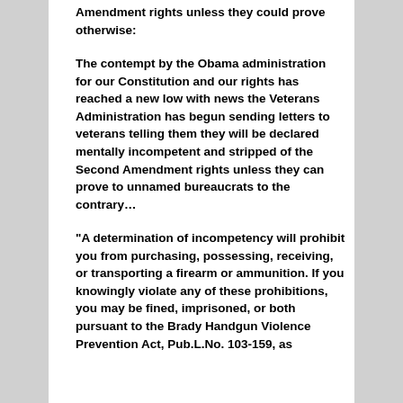Amendment rights unless they could prove otherwise:
The contempt by the Obama administration for our Constitution and our rights has reached a new low with news the Veterans Administration has begun sending letters to veterans telling them they will be declared mentally incompetent and stripped of the Second Amendment rights unless they can prove to unnamed bureaucrats to the contrary…
“A determination of incompetency will prohibit you from purchasing, possessing, receiving, or transporting a firearm or ammunition. If you knowingly violate any of these prohibitions, you may be fined, imprisoned, or both pursuant to the Brady Handgun Violence Prevention Act, Pub.L.No. 103-159, as